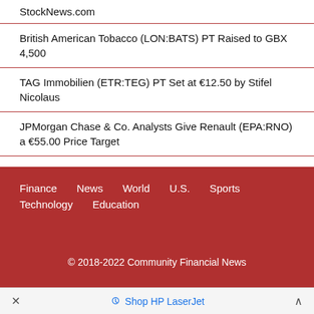StockNews.com
British American Tobacco (LON:BATS) PT Raised to GBX 4,500
TAG Immobilien (ETR:TEG) PT Set at €12.50 by Stifel Nicolaus
JPMorgan Chase & Co. Analysts Give Renault (EPA:RNO) a €55.00 Price Target
Finance  News  World  U.S.  Sports  Technology  Education
© 2018-2022 Community Financial News
Shop HP LaserJet